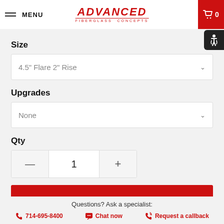MENU | ADVANCED FIBERGLASS CONCEPTS | Cart 0
Size
4.5" Flare 2" Rise
Upgrades
None
Qty
1
ADD TO CART
Questions? Ask a specialist:
714-695-8400   Chat now   Request a callback